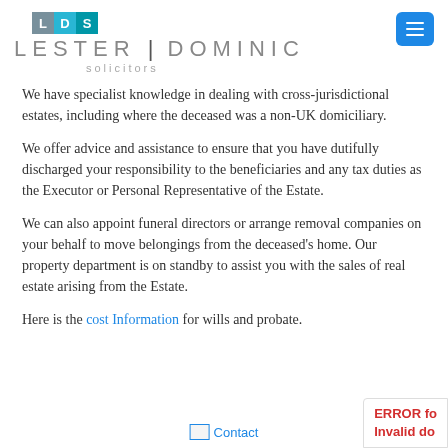[Figure (logo): Lester Dominic Solicitors logo with LDS initials in colored boxes and firm name in spaced letters]
We have specialist knowledge in dealing with cross-jurisdictional estates, including where the deceased was a non-UK domiciliary.
We offer advice and assistance to ensure that you have dutifully discharged your responsibility to the beneficiaries and any tax duties as the Executor or Personal Representative of the Estate.
We can also appoint funeral directors or arrange removal companies on your behalf to move belongings from the deceased’s home.  Our property department is on standby to assist you with the sales of real estate arising from the Estate.
Here is the cost Information for wills and probate.
[Figure (other): Contact button with envelope icon and blue text]
ERROR fo… Invalid do…